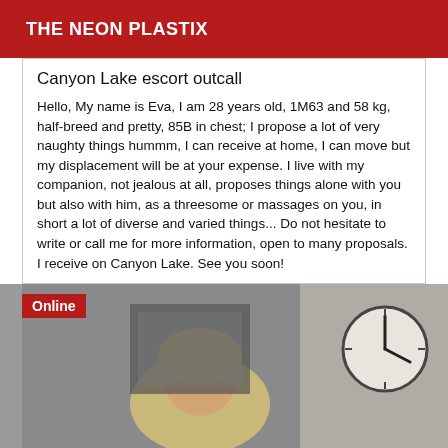THE NEON PLASTIX
Canyon Lake escort outcall
Hello, My name is Eva, I am 28 years old, 1M63 and 58 kg, half-breed and pretty, 85B in chest; I propose a lot of very naughty things hummm, I can receive at home, I can move but my displacement will be at your expense. I live with my companion, not jealous at all, proposes things alone with you but also with him, as a threesome or massages on you, in short a lot of diverse and varied things... Do not hesitate to write or call me for more information, open to many proposals. I receive on Canyon Lake. See you soon!
[Figure (photo): Photo of a blonde woman in an indoor setting with a clock visible on the right side. Red 'Online' badge in the top-left corner.]